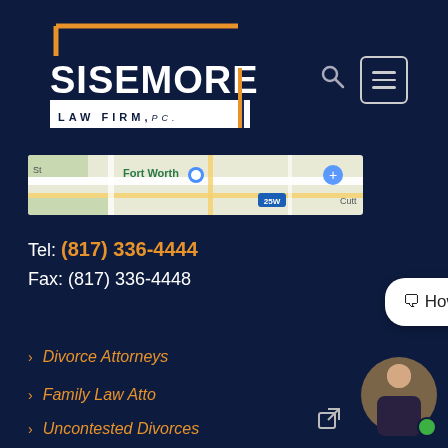[Figure (logo): Sisemore Law Firm PC logo with orange bracket decorations on dark navy background]
[Figure (map): Google Maps snippet showing Fort Worth area with street view]
Tel: (817) 336-4444
Fax: (817) 336-4448
[Figure (other): Green phone call button icon]
> Divorce Attorneys
> Family Law Attorneys
> Uncontested Divorces
[Figure (other): Chat bubble saying 'How can I help you?' with attorney avatar and green online indicator]